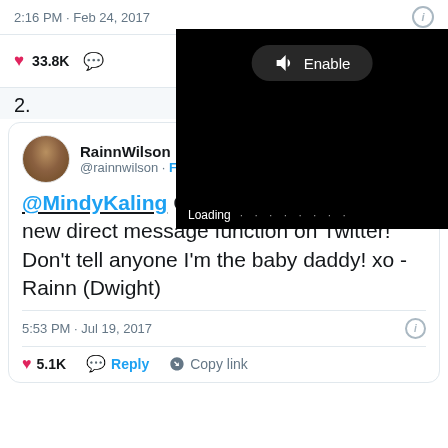2:16 PM · Feb 24, 2017
[Figure (screenshot): Twitter video player overlay showing Enable audio button and Loading indicator on black background]
33.8K likes
2.
RainnWilson @rainnwilson · Follow — 1 seconds...
@MindyKaling Congrats, baby! Love this new direct message function on Twitter! Don't tell anyone I'm the baby daddy! xo -Rainn (Dwight)
5:53 PM · Jul 19, 2017
5.1K · Reply · Copy link